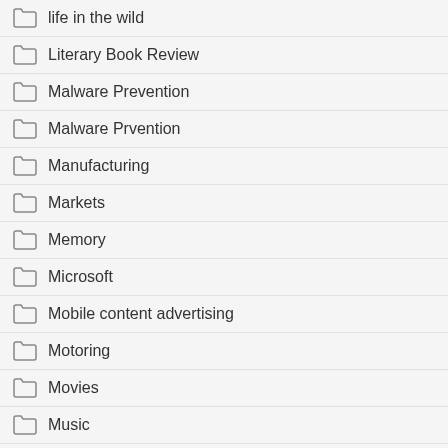life in the wild
Literary Book Review
Malware Prevention
Malware Prvention
Manufacturing
Markets
Memory
Microsoft
Mobile content advertising
Motoring
Movies
Music
News
Oil
Opinion